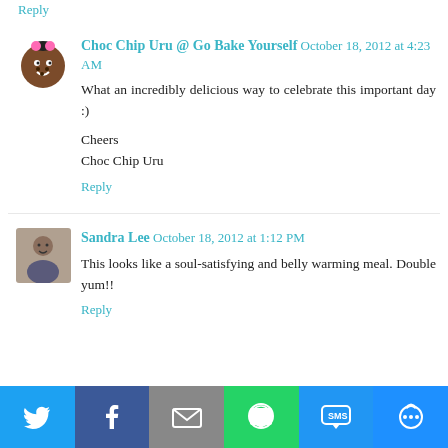Reply
Choc Chip Uru @ Go Bake Yourself  October 18, 2012 at 4:23 AM
What an incredibly delicious way to celebrate this important day :)
Cheers
Choc Chip Uru
Reply
Sandra Lee  October 18, 2012 at 1:12 PM
This looks like a soul-satisfying and belly warming meal. Double yum!!
Reply
[Figure (infographic): Social sharing bar with Twitter, Facebook, Email, WhatsApp, SMS, and More buttons]